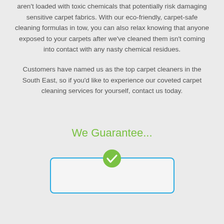aren't loaded with toxic chemicals that potentially risk damaging sensitive carpet fabrics. With our eco-friendly, carpet-safe cleaning formulas in tow, you can also relax knowing that anyone exposed to your carpets after we've cleaned them isn't coming into contact with any nasty chemical residues.
Customers have named us as the top carpet cleaners in the South East, so if you'd like to experience our coveted carpet cleaning services for yourself, contact us today.
We Guarantee...
[Figure (illustration): A rounded rectangle box with a blue border and a green circle with a white checkmark centered on its top edge, partially visible at the bottom of the page.]